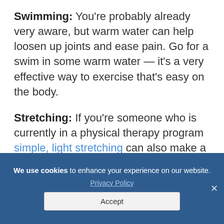Swimming: You're probably already very aware, but warm water can help loosen up joints and ease pain. Go for a swim in some warm water — it's a very effective way to exercise that's easy on the body.
Stretching: If you're someone who is currently in a physical therapy program simple, light stretching can also make a big difference.
The... (partially visible)
We use cookies to enhance your experience on our website. Privacy Policy Accept